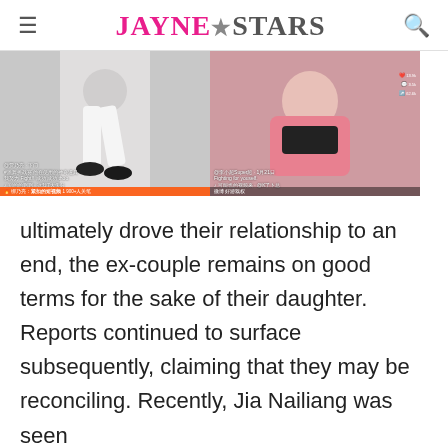Jayne Stars
[Figure (photo): Two side-by-side screenshots from Chinese social media/TikTok videos. Left: a person in white pants dancing. Right: a woman in a pink hoodie and black bra.]
ultimately drove their relationship to an end, the ex-couple remains on good terms for the sake of their daughter. Reports continued to surface subsequently, claiming that they may be reconciling. Recently, Jia Nailiang was seen